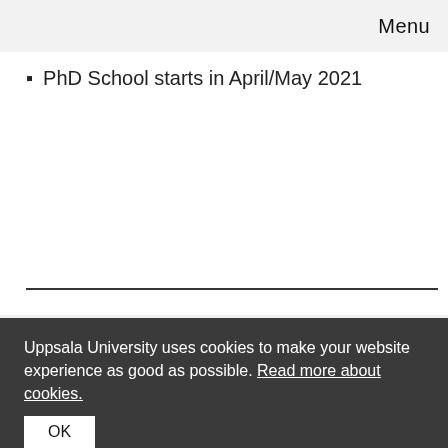Menu
PhD School starts in April/May 2021
WELCOME TO CONTACT US!
Director: Håkan Engqvist
Uppsala University uses cookies to make your website experience as good as possible. Read more about cookies.